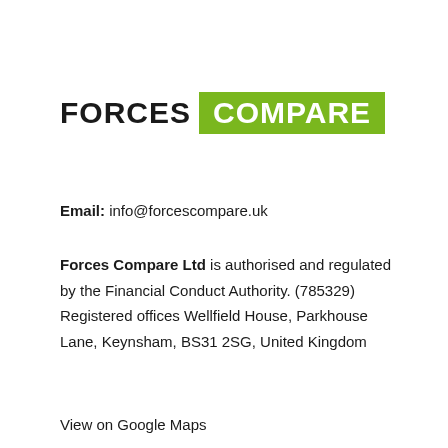[Figure (logo): Forces Compare logo: FORCES in black bold text followed by COMPARE in white bold text on a green rectangle background]
Email: info@forcescompare.uk
Forces Compare Ltd is authorised and regulated by the Financial Conduct Authority. (785329) Registered offices Wellfield House, Parkhouse Lane, Keynsham, BS31 2SG, United Kingdom
View on Google Maps